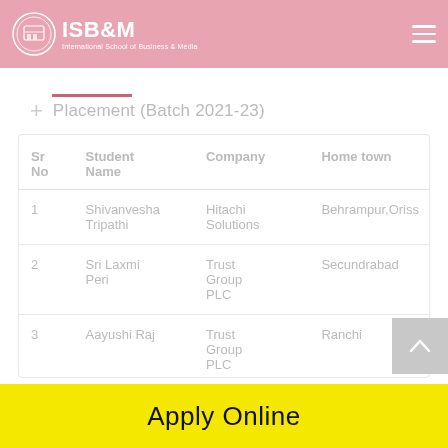ISB&M International School of Business & Media
+ Placement (Batch 2021-23)
| Sr No | Student Name | Company | Home town |
| --- | --- | --- | --- |
| 1 | Shivanvesha Tripathi | Hitachi Solutions | Behrampur,Orissa |
| 2 | Sri Laxmi Peri | Trust Group PLC | Secundrabad |
| 3 | Aayushi Raj | Trust Group PLC | Ranchi |
Apply Online